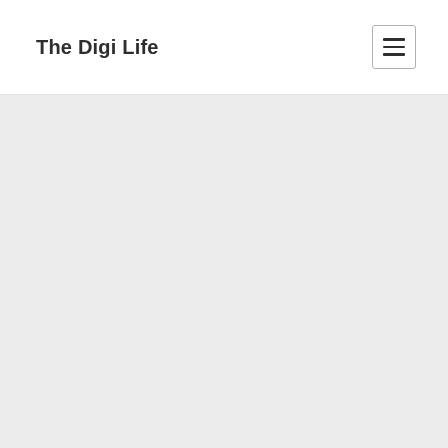The Digi Life
[Figure (other): Large gray content area below the header, representing a placeholder or image region]